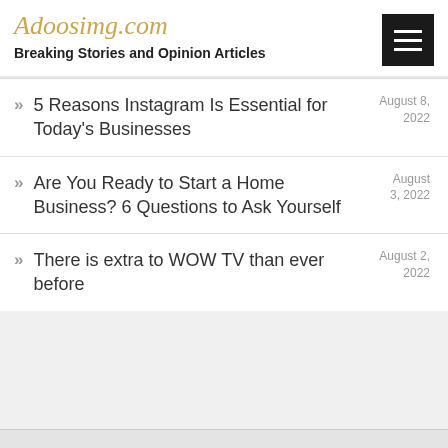Adoosimg.com — Breaking Stories and Opinion Articles
5 Reasons Instagram Is Essential for Today's Businesses — August 8, 2022
Are You Ready to Start a Home Business? 6 Questions to Ask Yourself — August 3, 2022
There is extra to WOW TV than ever before — August 2, 2022